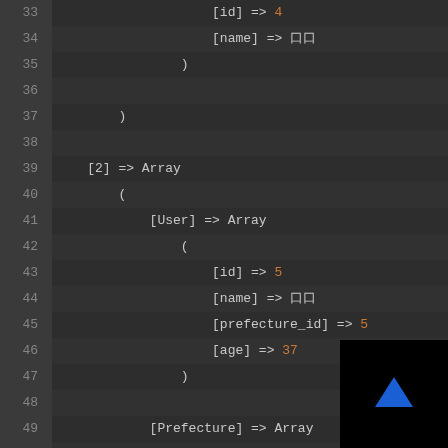[Figure (screenshot): Code editor screenshot showing PHP array print_r output, lines 33-53, dark theme with line numbers. Shows nested array structure with User and Prefecture elements.]